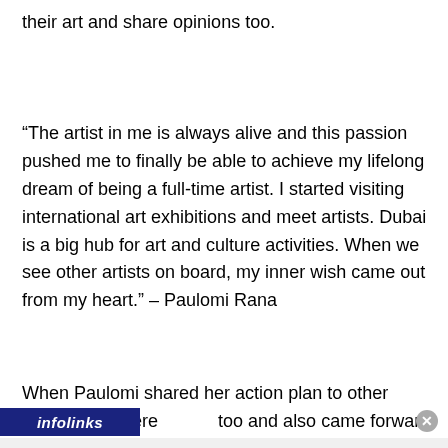their art and share opinions too.
“The artist in me is always alive and this passion pushed me to finally be able to achieve my lifelong dream of being a full-time artist. I started visiting international art exhibitions and meet artists. Dubai is a big hub for art and culture activities. When we see other artists on board, my inner wish came out from my heart.” – Paulomi Rana
When Paulomi shared her action plan to other artists, they were too and also came forward to join her. This way, Paulomi